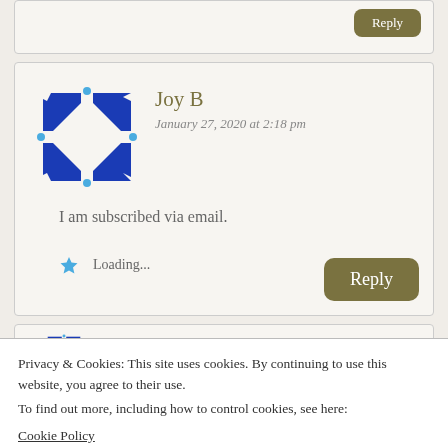[Figure (illustration): Partial comment box at top with a Reply button (dark olive/tan colored rounded button) visible at top right]
Joy B
January 27, 2020 at 2:18 pm
[Figure (illustration): Blue and white geometric avatar icon for user Joy B]
I am subscribed via email.
Loading...
Reply
[Figure (illustration): Partial second comment box showing Joy B avatar and name partially visible]
Privacy & Cookies: This site uses cookies. By continuing to use this website, you agree to their use.
To find out more, including how to control cookies, see here:
Cookie Policy
Close and accept